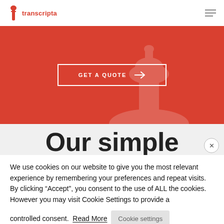transcripta
[Figure (screenshot): Red hero banner with GET A QUOTE button and arrow, overlaid on a faded Capitol building background]
Our simple
We use cookies on our website to give you the most relevant experience by remembering your preferences and repeat visits. By clicking “Accept”, you consent to the use of ALL the cookies. However you may visit Cookie Settings to provide a controlled consent.
Read More
Cookie settings
REJECT
ACCEPT